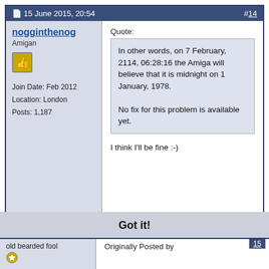15 June 2015, 20:54   #14
nogginthenog
Amigan
Join Date: Feb 2012
Location: London
Posts: 1,187
Quote:
In other words, on 7 February, 2114, 06:28:16 the Amiga will believe that it is midnight on 1 January, 1978.

No fix for this problem is available yet.
I think I'll be fine :-)
This website uses cookies to improve user experience and display correct advertisement.  Learn more
Got it!
old bearded fool
Originally Posted by